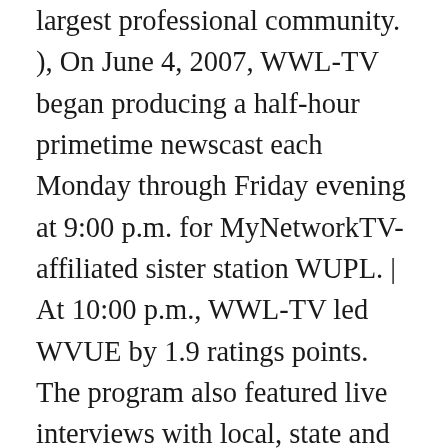largest professional community. ), On June 4, 2007, WWL-TV began producing a half-hour primetime newscast each Monday through Friday evening at 9:00 p.m. for MyNetworkTV-affiliated sister station WUPL. |  At 10:00 p.m., WWL-TV led WVUE by 1.9 ratings points. The program also featured live interviews with local, state and national officials. WWL-TV's extensive coverage of Hurricane Katrina earned the station its sixth Peabody Award in early April 2006,[7] as well as a duPont–Columbia Award in 2007;[8] it was also recounted in an episode of The Weather Channel documentary series Storm Stories. On June 13, 2013, the Gannett Company announced that it would acquire Belo's